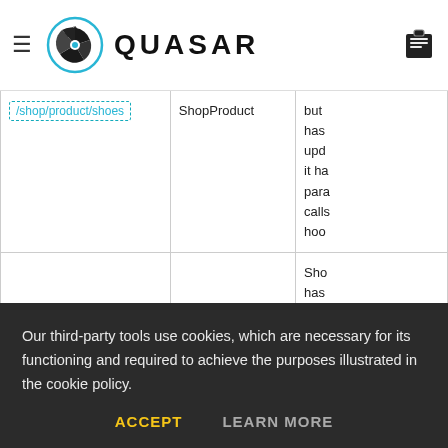QUASAR
| Route | Component | Description |
| --- | --- | --- |
| /shop/product/shoes | ShopProduct | but has upd it ha para calls hoo |
| /shop/product/shoes/overview | ShopProduct then ShopProductOverview | Sho has para is ca eve it's |
| / |  |  |
Our third-party tools use cookies, which are necessary for its functioning and required to achieve the purposes illustrated in the cookie policy.
ACCEPT   LEARN MORE